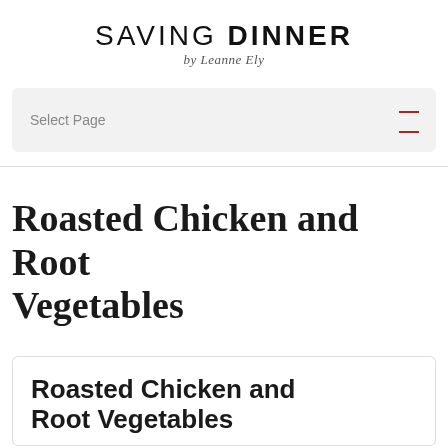SAVING DINNER by Leanne Ely
Select Page
Roasted Chicken and Root Vegetables
Roasted Chicken and Root Vegetables